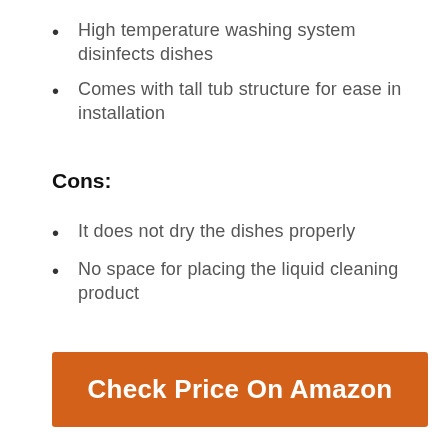High temperature washing system disinfects dishes
Comes with tall tub structure for ease in installation
Cons:
It does not dry the dishes properly
No space for placing the liquid cleaning product
Check Price On Amazon
How to Choose The Best Dishwasher Under 500